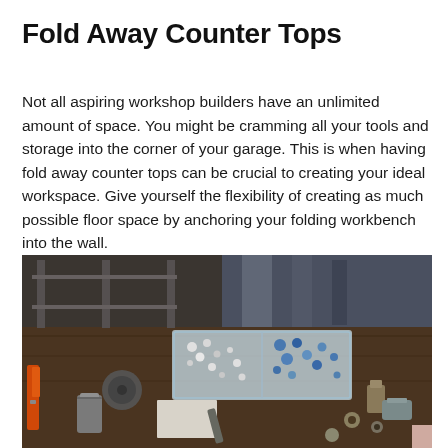Fold Away Counter Tops
Not all aspiring workshop builders have an unlimited amount of space. You might be cramming all your tools and storage into the corner of your garage. This is when having fold away counter tops can be crucial to creating your ideal workspace. Give yourself the flexibility of creating as much possible floor space by anchoring your folding workbench into the wall.
[Figure (photo): A cluttered workshop workbench with various tools and hardware including pliers, screws, bolts, and a clear plastic organizer box filled with small parts, viewed from above at an angle. Dark wooden surface with metal shelving in the background.]